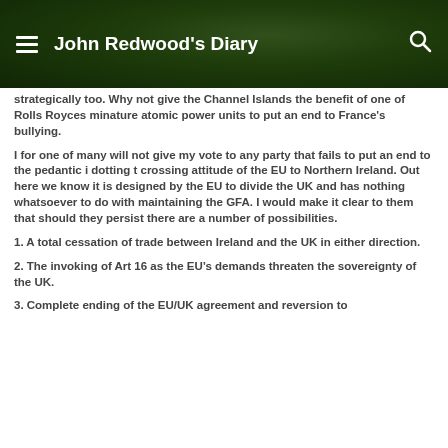John Redwood's Diary
strategically too. Why not give the Channel Islands the benefit of one of Rolls Royces minature atomic power units to put an end to France's bullying.
I for one of many will not give my vote to any party that fails to put an end to the pedantic i dotting t crossing attitude of the EU to Northern Ireland. Out here we know it is designed by the EU to divide the UK and has nothing whatsoever to do with maintaining the GFA. I would make it clear to them that should they persist there are a number of possibilities.
1. A total cessation of trade between Ireland and the UK in either direction.
2. The invoking of Art 16 as the EU’s demands threaten the sovereignty of the UK.
3. Complete ending of the EU/UK agreement and reversion to